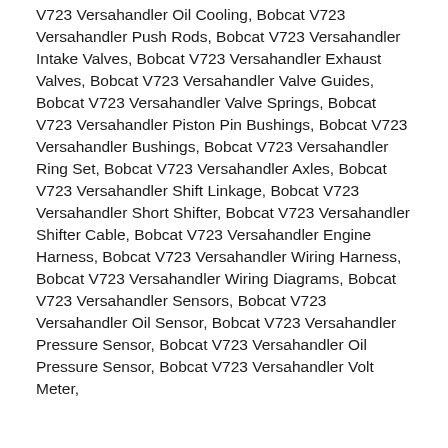V723 Versahandler Oil Cooling, Bobcat V723 Versahandler Push Rods, Bobcat V723 Versahandler Intake Valves, Bobcat V723 Versahandler Exhaust Valves, Bobcat V723 Versahandler Valve Guides, Bobcat V723 Versahandler Valve Springs, Bobcat V723 Versahandler Piston Pin Bushings, Bobcat V723 Versahandler Bushings, Bobcat V723 Versahandler Ring Set, Bobcat V723 Versahandler Axles, Bobcat V723 Versahandler Shift Linkage, Bobcat V723 Versahandler Short Shifter, Bobcat V723 Versahandler Shifter Cable, Bobcat V723 Versahandler Engine Harness, Bobcat V723 Versahandler Wiring Harness, Bobcat V723 Versahandler Wiring Diagrams, Bobcat V723 Versahandler Sensors, Bobcat V723 Versahandler Oil Sensor, Bobcat V723 Versahandler Pressure Sensor, Bobcat V723 Versahandler Oil Pressure Sensor, Bobcat V723 Versahandler Volt Meter,